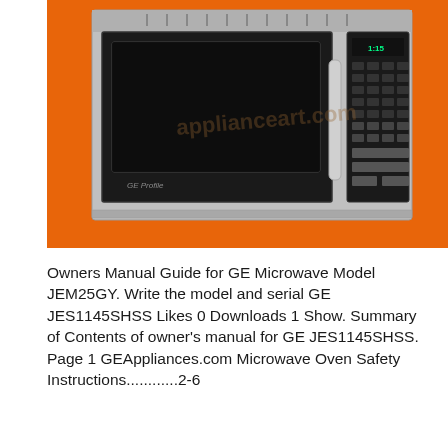[Figure (photo): Product photo of a GE over-the-range stainless steel microwave oven displayed against an orange background. The microwave has a large black door with a vertical handle on the right side, a digital display panel showing '1:15', and a control panel with multiple buttons. The brand name 'GE Profile' is visible on the lower left of the door. A faint 'applianceart.com' watermark is visible across the image.]
Owners Manual Guide for GE Microwave Model JEM25GY. Write the model and serial GE JES1145SHSS Likes 0 Downloads 1 Show. Summary of Contents of owner's manual for GE JES1145SHSS. Page 1 GEAppliances.com Microwave Oven Safety Instructions............2-6